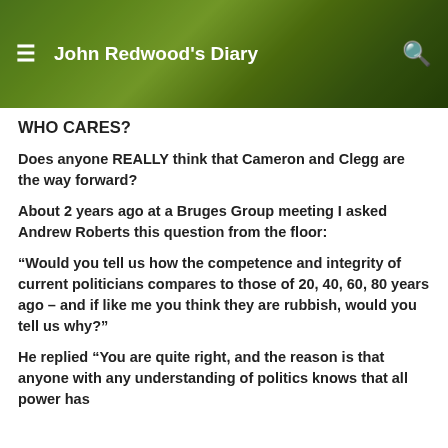John Redwood's Diary
WHO CARES?
Does anyone REALLY think that Cameron and Clegg are the way forward?
About 2 years ago at a Bruges Group meeting I asked Andrew Roberts this question from the floor:
“Would you tell us how the competence and integrity of current politicians compares to those of 20, 40, 60, 80 years ago – and if like me you think they are rubbish, would you tell us why?”
He replied “You are quite right, and the reason is that anyone with any understanding of politics knows that all power has